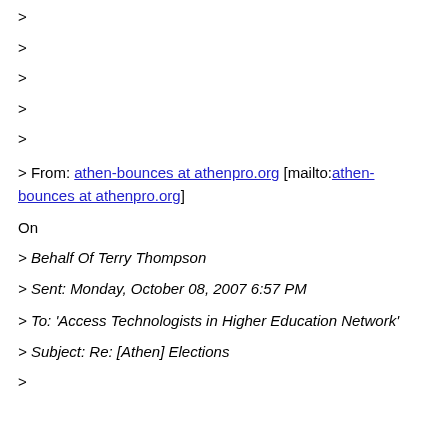>
>
>
>
>
> From: athen-bounces at athenpro.org [mailto:athen-bounces at athenpro.org]
On
> Behalf Of Terry Thompson
> Sent: Monday, October 08, 2007 6:57 PM
> To: 'Access Technologists in Higher Education Network'
> Subject: Re: [Athen] Elections
>